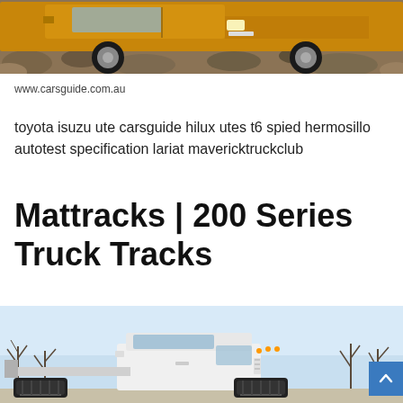[Figure (photo): Orange/gold pickup truck on rocky terrain, close-up of wheels and lower body, blue sky background.]
www.carsguide.com.au
toyota isuzu ute carsguide hilux utes t6 spied hermosillo autotest specification lariat mavericktruckclub
Mattracks | 200 Series Truck Tracks
[Figure (photo): White heavy-duty truck with flatbed and track system attachments, parked outdoors in winter with bare trees in background.]